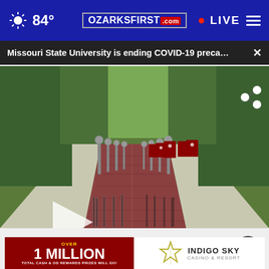84° OZARKSFIRST.com • LIVE
Missouri State University is ending COVID-19 preca... ×
[Figure (screenshot): Video thumbnail of Missouri State University campus walkway lined with lamp posts and red/white banners, trees on either side, brick pathway leading into the distance. Play button overlay visible on left side. Share icon on top right.]
OzarksFirst
[Figure (photo): Ad banner: Left side red background with text 'OVER 1 MILLION TOTAL CASH & OD REWARDS PRIZES WILL GO!'. Right side white background with Indigo Sky Casino & Resort star logo and text.]